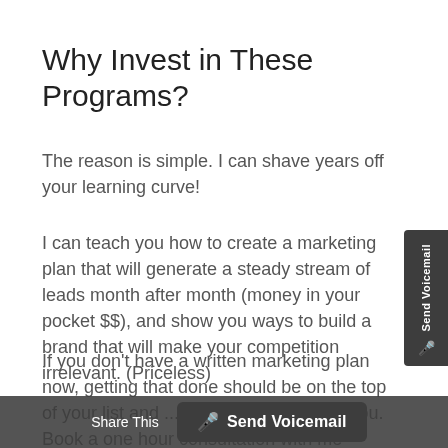Why Invest in These Programs?
The reason is simple. I can shave years off your learning curve!
I can teach you how to create a marketing plan that will generate a steady stream of leads month after month (money in your pocket $$), and show you ways to build a brand that will make your competition irrelevant. (Priceless)
If you don't have a written marketing plan now, getting that done should be on the top of your list and ... I've made it easy for you. Book a one hour consultation with me and ... ASAP. You can get the details